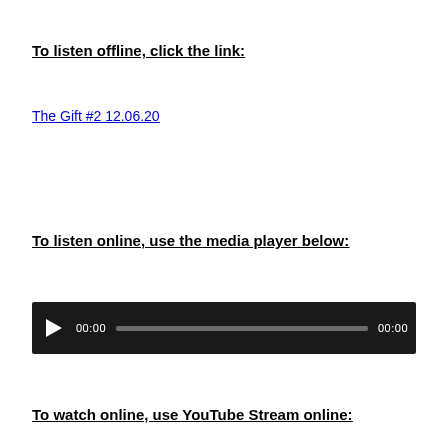To listen offline, click the link:
The Gift #2 12.06.20
To listen online, use the media player below:
[Figure (other): Audio media player with play button, current time showing 00:00, progress bar, and total time showing 00:00, on a dark background]
To watch online, use YouTube Stream online: